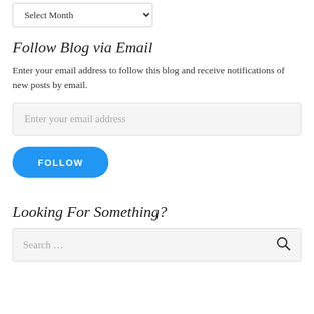Archives
Select Month
Follow Blog via Email
Enter your email address to follow this blog and receive notifications of new posts by email.
Enter your email address
FOLLOW
Looking For Something?
Search ...